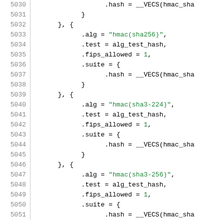[Figure (screenshot): Source code listing in C showing cryptographic algorithm test vector entries for HMAC-SHA variants (hmac(sha256), hmac(sha3-224), hmac(sha3-256)), with line numbers 5030-5051. Each entry contains .alg, .test, .fips_allowed, .suite, and .hash fields.]